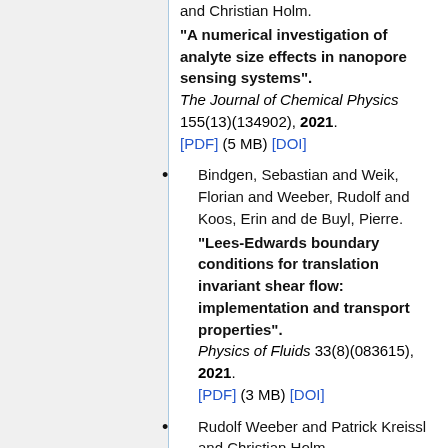and Christian Holm. "A numerical investigation of analyte size effects in nanopore sensing systems". The Journal of Chemical Physics 155(13)(134902), 2021. [PDF] (5 MB) [DOI]
Bindgen, Sebastian and Weik, Florian and Weeber, Rudolf and Koos, Erin and de Buyl, Pierre. "Lees-Edwards boundary conditions for translation invariant shear flow: implementation and transport properties". Physics of Fluids 33(8)(083615), 2021. [PDF] (3 MB) [DOI]
Rudolf Weeber and Patrick Kreissl and Christian Holm.